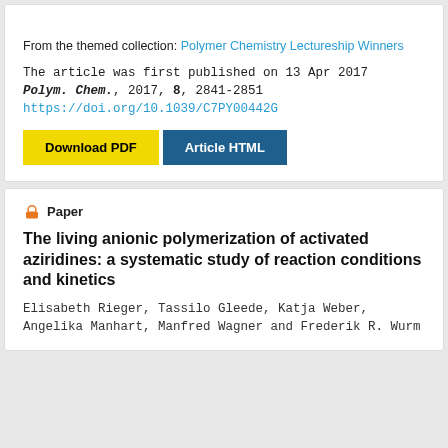From the themed collection: Polymer Chemistry Lectureship Winners
The article was first published on 13 Apr 2017
Polym. Chem., 2017, 8, 2841-2851
https://doi.org/10.1039/C7PY00442G
Download PDF | Article HTML
Paper
The living anionic polymerization of activated aziridines: a systematic study of reaction conditions and kinetics
Elisabeth Rieger, Tassilo Gleede, Katja Weber, Angelika Manhart, Manfred Wagner and Frederik R. Wurm